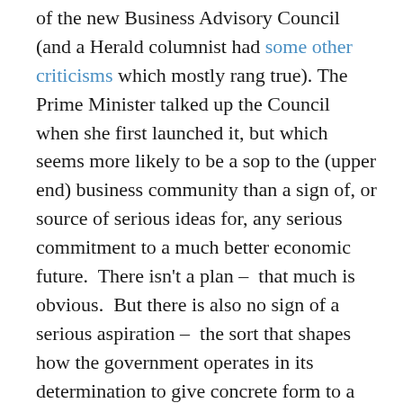of the new Business Advisory Council (and a Herald columnist had some other criticisms which mostly rang true). The Prime Minister talked up the Council when she first launched it, but which seems more likely to be a sop to the (upper end) business community than a sign of, or source of serious ideas for, any serious commitment to a much better economic future.  There isn't a plan –  that much is obvious.  But there is also no sign of a serious aspiration –  the sort that shapes how the government operates in its determination to give concrete form to a better future – either.  Sadly, that doesn't mark them out from their predecessors.

What if they really were serious?  Well, of